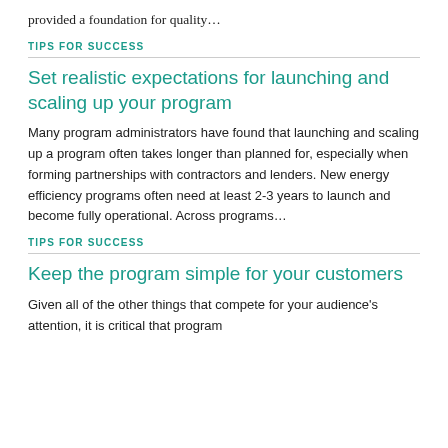provided a foundation for quality…
TIPS FOR SUCCESS
Set realistic expectations for launching and scaling up your program
Many program administrators have found that launching and scaling up a program often takes longer than planned for, especially when forming partnerships with contractors and lenders. New energy efficiency programs often need at least 2-3 years to launch and become fully operational. Across programs…
TIPS FOR SUCCESS
Keep the program simple for your customers
Given all of the other things that compete for your audience's attention, it is critical that program